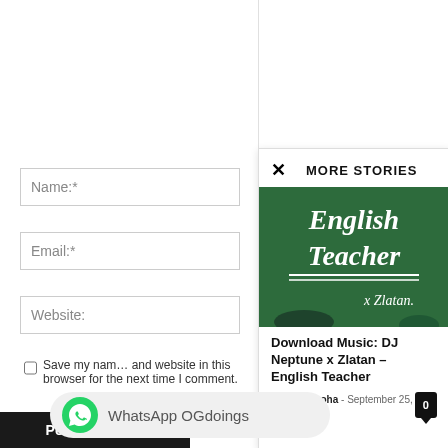MORE STORIES
[Figure (photo): A green chalkboard with 'English Teacher x Zlatan' written in white chalk cursive lettering]
Download Music: DJ Neptune x Zlatan – English Teacher
Rayzi Nwaoha - September 25, 2019
Name:*
Email:*
Website:
Save my name, email, and website in this browser for the next time I comment.
Notify me of follow-up comments by email.
WhatsApp OGdoings
Post Comment